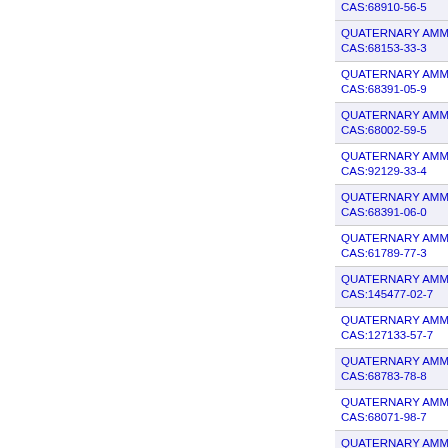CAS:68910-56-5
QUATERNARY AMMONIUM COMPOUNDS, DI-C10-16-
CAS:68153-33-3
QUATERNARY AMMONIUM COMPOUNDS, DI-C12-18-
CAS:68391-05-9
QUATERNARY AMMONIUM COMPOUNDS, DI-C14-18-
CAS:68002-59-5
QUATERNARY AMMONIUM COMPOUNDS, DI-C16-18-
CAS:92129-33-4
QUATERNARY AMMONIUM COMPOUNDS, DI-C6-12-A
CAS:68391-06-0
QUATERNARY AMMONIUM COMPOUNDS, DICOCO A
CAS:61789-77-3
QUATERNARY AMMONIUM COMPOUNDS, DIETHYL 
CAS:145477-02-7
QUATERNARY AMMONIUM COMPOUNDS, DIETHYLM
CAS:127133-57-7
QUATERNARY AMMONIUM COMPOUNDS, DIMETHYL
CAS:68783-78-8
QUATERNARY AMMONIUM COMPOUNDS, ETHYL(HY
CAS:68071-98-7
QUATERNARY AMMONIUM COMPOUNDS, PENTAME
CAS:68309-56-8
QUATERNARY AMMONIUM COMPOUNDS, TRI-C14-1
CAS:71060-72-5
QUATERNARY AMMONIUM COMPOUNDS, TRI-C6-12-
CAS:72749-59-8
QUATERNARY AMMONIUM COMPOUNDS, TRI-C8-10-